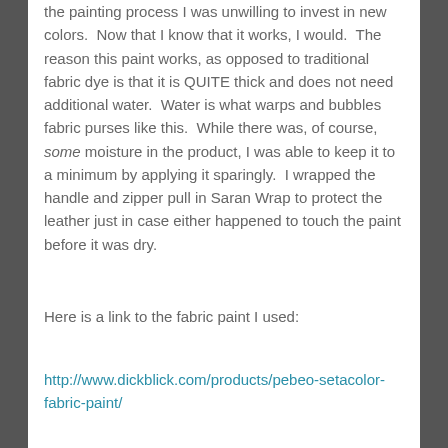the painting process I was unwilling to invest in new colors.  Now that I know that it works, I would.  The reason this paint works, as opposed to traditional fabric dye is that it is QUITE thick and does not need additional water.  Water is what warps and bubbles fabric purses like this.  While there was, of course, some moisture in the product, I was able to keep it to a minimum by applying it sparingly.  I wrapped the handle and zipper pull in Saran Wrap to protect the leather just in case either happened to touch the paint before it was dry.
Here is a link to the fabric paint I used:
http://www.dickblick.com/products/pebeo-setacolor-fabric-paint/